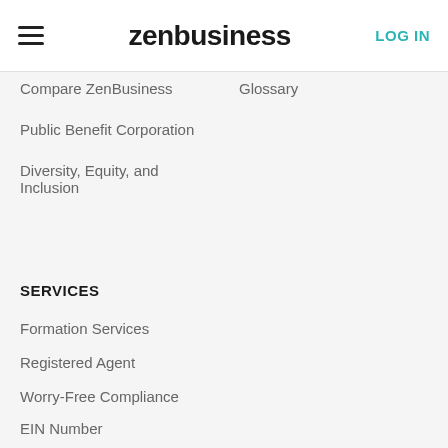zenbusiness | LOG IN
Compare ZenBusiness
Glossary
Public Benefit Corporation
Diversity, Equity, and Inclusion
SERVICES
Formation Services
Registered Agent
Worry-Free Compliance
EIN Number
Operating Agreement